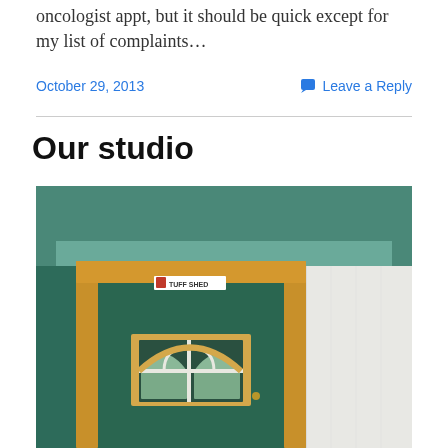oncologist appt, but it should be quick except for my list of complaints…
October 29, 2013
Leave a Reply
Our studio
[Figure (photo): Photo of a green shed door with a wooden frame. The door has a decorative arched window with white muntins. A 'TUFF SHED' sticker is visible above the door on the frame. White vinyl siding is visible to the right. The roof overhang is teal/green.]